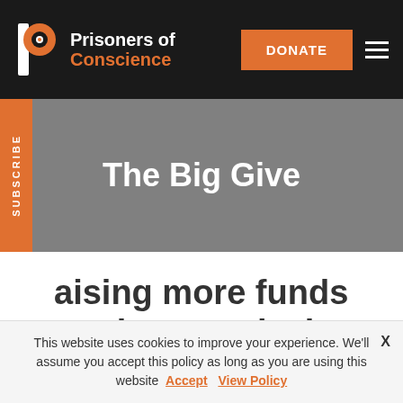Prisoners of Conscience — DONATE
The Big Give
raising more funds to give practical help to prisoners of conscience
This website uses cookies to improve your experience. We'll assume you accept this policy as long as you are using this website  Accept  View Policy  X